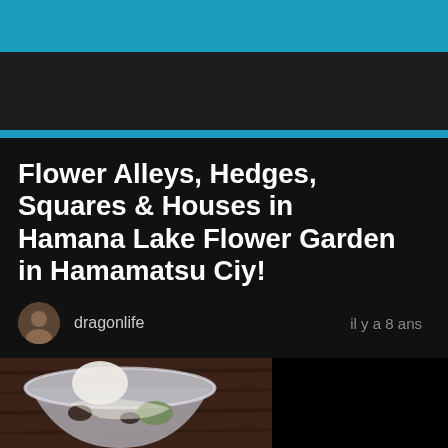Flower Alleys, Hedges, Squares & Houses in Hamana Lake Flower Garden in Hamamatsu Ciy!
dragonlife
il y a 8 ans
[Figure (photo): Close-up photo of a Japanese dessert bowl with ice cream and food items on a dark wooden surface]